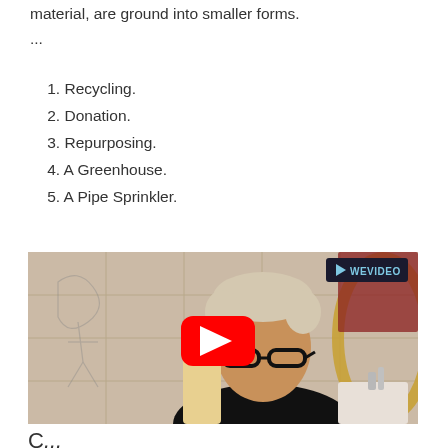material, are ground into smaller forms.
...
1. Recycling.
2. Donation.
3. Repurposing.
4. A Greenhouse.
5. A Pipe Sprinkler.
[Figure (screenshot): Video thumbnail showing a man with curly grey hair and glasses holding a pipe/cardboard tube, with a bathroom background. A YouTube play button is overlaid in the center. A WeVideo logo appears in the top right corner.]
C...